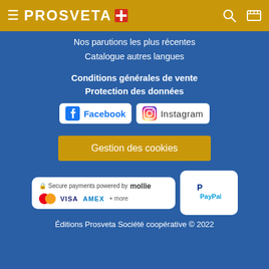PROSVETA
Nos parutions les plus récentes
Catalogue autres langues
Conditions générales de vente
Protection des données
[Figure (logo): Facebook and Instagram social media badges]
Gestion des cookies
[Figure (logo): Secure payments powered by mollie badge with Mastercard, VISA, AMEX + more payment icons, and PayPal badge]
Éditions Prosveta Société coopérative © 2022